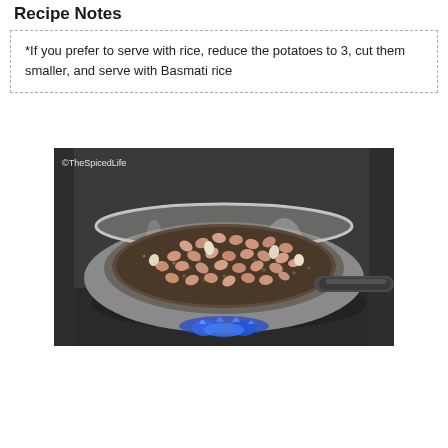Recipe Notes
*If you prefer to serve with rice, reduce the potatoes to 3, cut them smaller, and serve with Basmati rice
[Figure (photo): A stainless steel frying pan on a gas stove with a blue flame, containing raw peanuts and black mustard seeds or similar small spices being dry-roasted. The pan handle is visible. Watermark reads ©TheSpicedLife in upper left corner.]